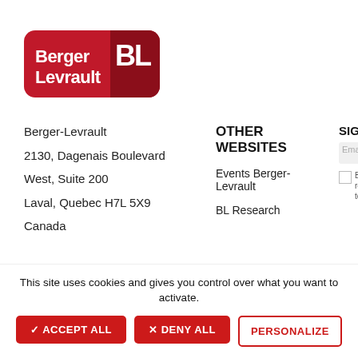[Figure (logo): Berger-Levrault company logo — red rounded rectangle with white text 'Berger Levrault' and stylized 'BL' letters in dark red on the right side]
Berger-Levrault
2130, Dagenais Boulevard
West, Suite 200
Laval, Quebec H7L 5X9
Canada
OTHER WEBSITES
Events Berger-Levrault
BL Research
SIGN U
Email a
By re to
This site uses cookies and gives you control over what you want to activate.
✓ ACCEPT ALL
✕ DENY ALL
PERSONALIZE